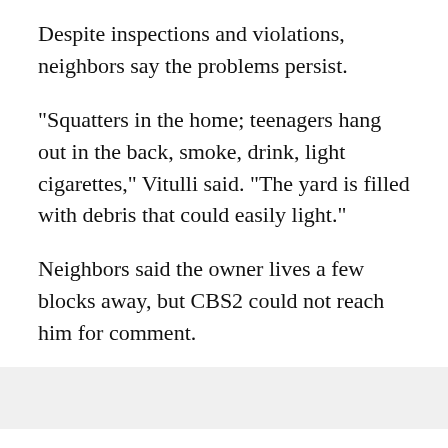Despite inspections and violations, neighbors say the problems persist.
"Squatters in the home; teenagers hang out in the back, smoke, drink, light cigarettes," Vitulli said. "The yard is filled with debris that could easily light."
Neighbors said the owner lives a few blocks away, but CBS2 could not reach him for comment.
A Department of Buildings representative said earlier this month, they ordered him to put a fence around the backyard. It appears he complied.
But that is not enough for state Sen. Tony Avella (D-